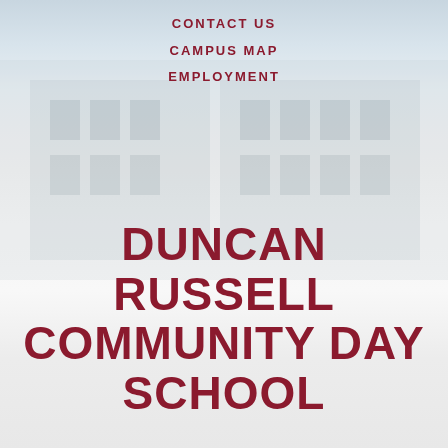CONTACT US
CAMPUS MAP
EMPLOYMENT
DUNCAN RUSSELL COMMUNITY DAY SCHOOL
650 W. 10TH STREET | TRACY, CA | P: 209.830-3395 | F: 209.830.3396
[Figure (infographic): Social media icons for Facebook and Twitter]
Powered by Finalsite